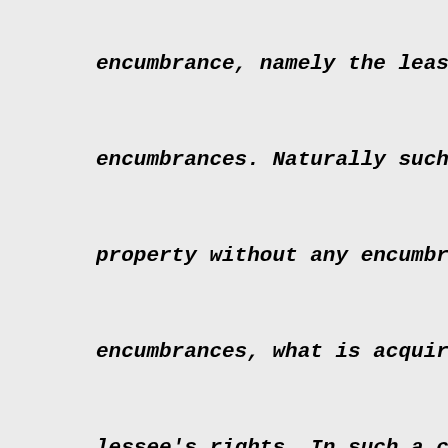encumbrance, namely the lease, will offer
encumbrances. Naturally such a price woul
property without any encumbrances. But wh
encumbrances, what is acquired is not onl
lessee's rights. In such a case compensat
from encumbrances, which includes the les
illustrate by the following example:
Let us assume the value of a property wh